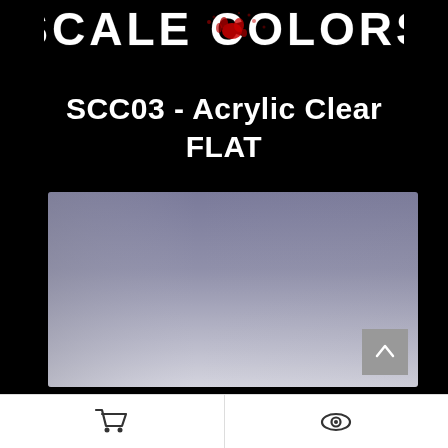[Figure (logo): Scale Colors brand logo with distressed grunge text and red paint splatter on black background]
SCC03 - Acrylic Clear FLAT
[Figure (illustration): Color swatch showing a gradient from dark blue-grey at top to light silver-white at bottom, representing the Acrylic Clear Flat finish]
[Figure (screenshot): Bottom navigation bar with shopping cart icon on left and eye/view icon on right, on white background]